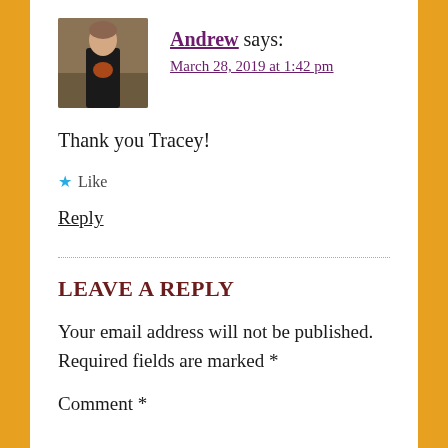[Figure (photo): Avatar photo of Andrew, a person wearing a black t-shirt indoors]
Andrew says:
March 28, 2019 at 1:42 pm
Thank you Tracey!
★ Like
Reply
LEAVE A REPLY
Your email address will not be published. Required fields are marked *
Comment *